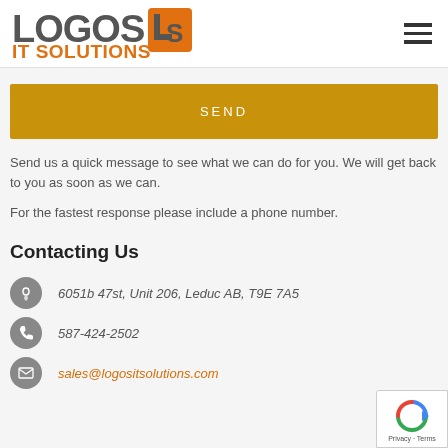[Figure (logo): Logos IT Solutions logo with orange and grey text and stylized 'LS' icon]
SEND
Send us a quick message to see what we can do for you. We will get back to you as soon as we can.
For the fastest response please include a phone number.
Contacting Us
6051b 47st, Unit 206, Leduc AB, T9E 7A5
587-424-2502
sales@logositsolutions.com